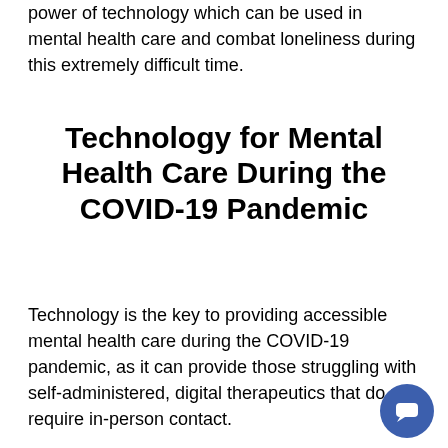power of technology which can be used in mental health care and combat loneliness during this extremely difficult time.
Technology for Mental Health Care During the COVID-19 Pandemic
Technology is the key to providing accessible mental health care during the COVID-19 pandemic, as it can provide those struggling with self-administered, digital therapeutics that do not require in-person contact.